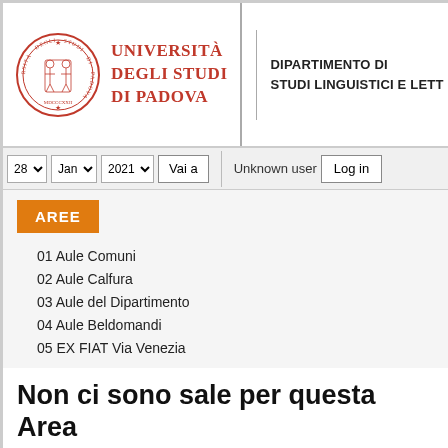[Figure (logo): Università degli Studi di Padova logo with circular seal and red text]
DIPARTIMENTO DI STUDI LINGUISTICI E LETT...
28 ▾  Jan ▾  2021 ▾  Vai a    Unknown user  Log in
AREE
01 Aule Comuni
02 Aule Calfura
03 Aule del Dipartimento
04 Aule Beldomandi
05 EX FIAT Via Venezia
Non ci sono sale per questa Area
Vedi Giorno: 22 Jan | 23 Jan | 24 Jan | 25 Jan | 26 Jan | 27 Jan | 28 Ja...